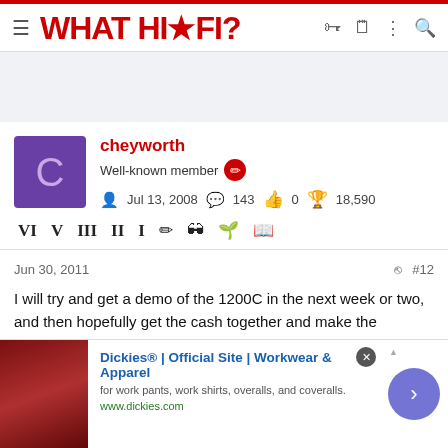WHAT HI-FI?
[Figure (other): Advertisement banner area (gray background)]
cheyworth
Well-known member
Jul 13, 2008  143  0  18,590
Jun 30, 2011  #12
I will try and get a demo of the 1200C in the next week or two, and then hopefully get the cash together and make the purchase. I am now 30 and am wanting an amp that will last me the next 20+ years,
[Figure (screenshot): Advertisement for Dickies Official Site - Workwear & Apparel. Shows furniture image on left, text: 'Dickies® | Official Site | Workwear & Apparel', 'for work pants, work shirts, overalls, and coveralls.', 'www.dickies.com']